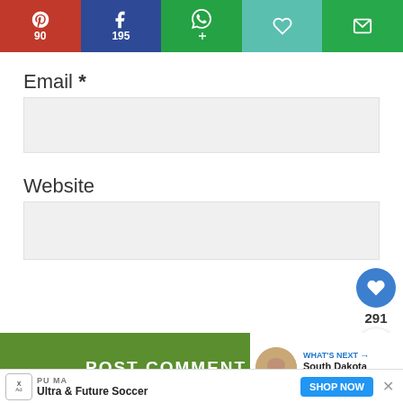[Figure (screenshot): Social sharing bar with Pinterest (90), Facebook (195), WhatsApp share, heart/like, and email buttons]
Email *
[Figure (screenshot): Empty email input field (light gray background)]
Website
[Figure (screenshot): Empty website input field (light gray background)]
[Figure (screenshot): Floating action buttons: blue heart icon, count 291, share icon]
[Figure (screenshot): POST COMMENT green button bar with What's Next - South Dakota Chislic panel]
[Figure (screenshot): Advertisement banner: PUMA Ultra & Future Soccer, SHOP NOW button]